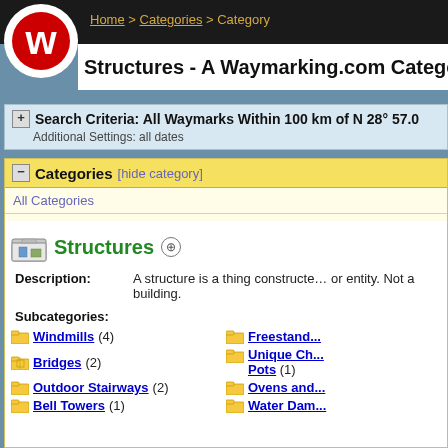Home > Categories > Category
Structures - A Waymarking.com Category
Search Criteria: All Waymarks Within 100 km of N 28° 57.0...
Additional Settings: all dates
Categories [hide category]
All Categories
Structures
Description: A structure is a thing constructed or entity. Not a building.
Subcategories:
Windmills (4)
Freestand...
Bridges (2)
Unique Ch... Pots (1)
Outdoor Stairways (2)
Ovens and...
Bell Towers (1)
Water Dam...